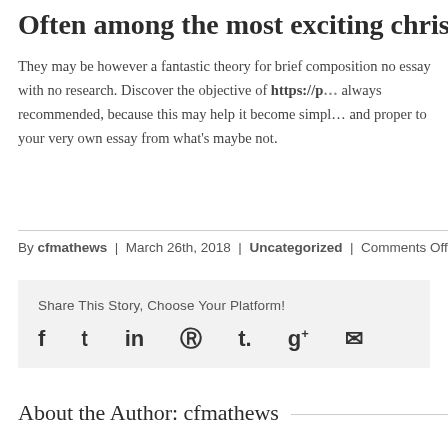Often among the most exciting christmas part…
They may be however a fantastic theory for brief composition no essay with no research. Discover the objective of https://p… always recommended, because this may help it become simpl… and proper to your very own essay from what's maybe not.
By cfmathews | March 26th, 2018 | Uncategorized | Comments Off
Share This Story, Choose Your Platform!
[Figure (other): Social sharing icons: Facebook, Twitter, LinkedIn, Reddit, Tumblr, Google+, Email]
About the Author: cfmathews